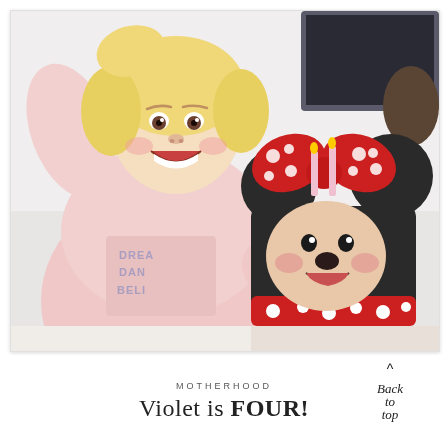[Figure (photo): A young blonde girl in a pink sweatshirt with sparkly text (DREAM DANCE BELIEVE) smiling and laughing beside a large Minnie Mouse birthday cake decorated with black fondant, red polka-dot bow, and Minnie Mouse face. Four pink birthday candles are visible on top of the cake.]
MOTHERHOOD
Violet is FOUR!
[Figure (illustration): Back to top button with a caret/hat symbol above cursive script reading 'Back to top']